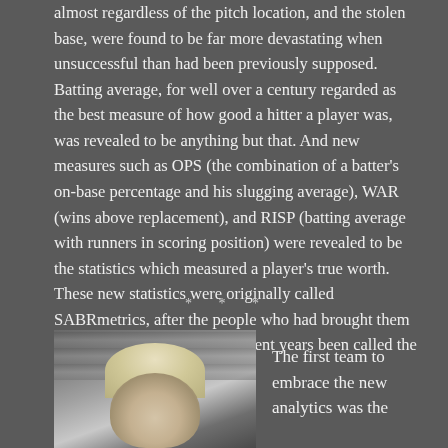almost regardless of the pitch location, and the stolen base, were found to be far more devastating when unsuccessful than had been previously supposed. Batting average, for well over a century regarded as the best measure of how good a hitter a player was, was revealed to be anything but that. And new measures such as OPS (the combination of a batter's on-base percentage and his slugging average), WAR (wins above replacement), and RISP (batting average with runners in scoring position) were revealed to be the statistics which measured a player's true worth. These new statistics were originally called SABRmetrics, after the people who had brought them to prominence, but have in recent years been called the new analytics.
* * *
[Figure (photo): A cropped photograph of a person with light-colored hair, appearing against a blurred background of stadium seating]
The first team to embrace the new analytics was the